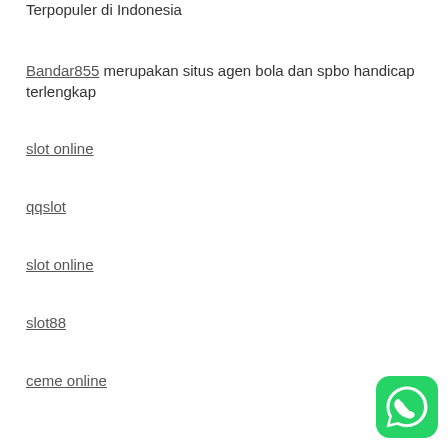Terpopuler di Indonesia
Bandar855 merupakan situs agen bola dan spbo handicap terlengkap
slot online
qqslot
slot online
slot88
ceme online
[Figure (logo): WhatsApp green circular button icon]